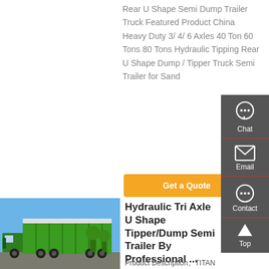Rear U Shape Semi Dump Trailer Truck Featured Product China Heavy Duty 3/ 4/ 6 Axles 40 Ton 60 Tons 80 Tons Hydraulic Tipping Rear U Shape Dump / Tipper Truck Semi Trailer for Sand
Get a Quote
[Figure (photo): Green dump truck / tipper semi-trailer parked outdoors against a blue sky background]
Hydraulic Tri Axle U Shape Tipper/Dump Semi Trailer By Professional ...
Product Description。TITAN